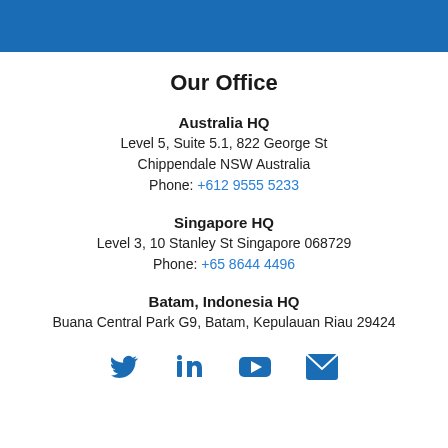[Figure (photo): Blue banner at top of page]
Our Office
Australia HQ
Level 5, Suite 5.1, 822 George St
Chippendale NSW Australia
Phone: +612 9555 5233
Singapore HQ
Level 3, 10 Stanley St Singapore 068729
Phone: +65 8644 4496
Batam, Indonesia HQ
Buana Central Park G9, Batam, Kepulauan Riau 29424
[Figure (other): Social media icons: Twitter, LinkedIn, YouTube, Email]